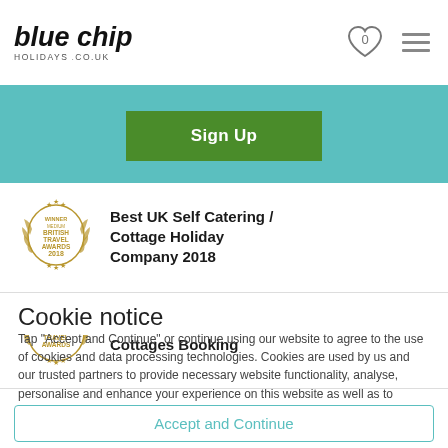blue chip holidays .co.uk
[Figure (other): Heart icon with 0 and hamburger menu icon in header]
[Figure (other): Green Sign Up button on teal banner]
[Figure (other): British Travel Awards 2018 Winner Medium badge - Best UK Self Catering / Cottage Holiday Company 2018]
Best UK Self Catering / Cottage Holiday Company 2018
[Figure (other): British Travel Awards Winner Medium badge - Best UK Holiday Cottages Booking]
Best UK Holiday Cottages Booking
Cookie notice
Tap "Accept and Continue" or continue using our website to agree to the use of cookies and data processing technologies. Cookies are used by us and our trusted partners to provide necessary website functionality, analyse, personalise and enhance your experience on this website as well as to deliver tailored holiday-related ads on other websites.
Accept and Continue